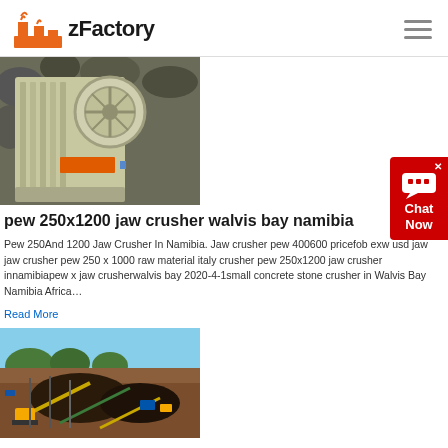zFactory
[Figure (photo): Industrial jaw crusher machine (PEW 250x1200) with large flywheel, mounted on rocky background. Orange rectangular label on the machine body.]
pew 250x1200 jaw crusher walvis bay namibia
Pew 250And 1200 Jaw Crusher In Namibia. Jaw crusher pew 400600 pricefob exw usd jaw jaw crusher pew 250 x 1000 raw material italy crusher pew 250x1200 jaw crusher innamibiapew x jaw crusherwalvis bay 2020-4-1small concrete stone crusher in Walvis Bay Namibia Africa…
Read More
[Figure (photo): Aerial view of an open-pit mining operation with earthmoving equipment, excavators, conveyor systems, and large piles of extracted ore/rock material.]